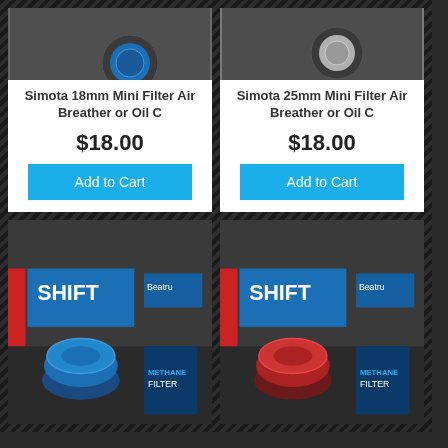[Figure (photo): Simota 18mm mini filter air breather or oil catch - small blue filter with hose fitting on dark background]
Simota 18mm Mini Filter Air Breather or Oil C
$18.00
Add to Cart
[Figure (photo): Simota 25mm mini filter air breather or oil catch - small filter with hose fitting on dark background]
Simota 25mm Mini Filter Air Breather or Oil C
$18.00
Add to Cart
[Figure (photo): Blue Shift performance methane filter product with packaging in store]
[Figure (photo): Red Shift performance methane filter product with packaging in store]